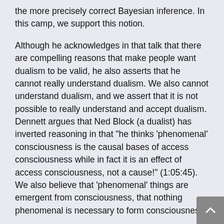the more precisely correct Bayesian inference. In this camp, we support this notion.
Although he acknowledges in that talk that there are compelling reasons that make people want dualism to be valid, he also asserts that he cannot really understand dualism. We also cannot understand dualism, and we assert that it is not possible to really understand and accept dualism. Dennett argues that Ned Block (a dualist) has inverted reasoning in that "he thinks 'phenomenal' consciousness is the causal bases of access consciousness while in fact it is an effect of access consciousness, not a cause!" (1:05:45). We also believe that 'phenomenal' things are emergent from consciousness, that nothing phenomenal is necessary to form consciousness